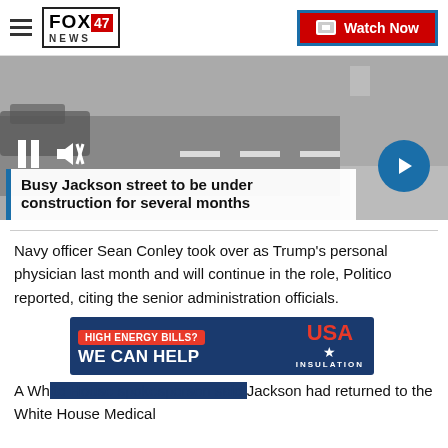FOX 47 NEWS | Watch Now
[Figure (screenshot): Video player showing a street/intersection scene with vehicle visible, pause and mute controls at bottom-left, next arrow button at bottom-right]
Busy Jackson street to be under construction for several months
Navy officer Sean Conley took over as Trump's personal physician last month and will continue in the role, Politico reported, citing the senior administration officials.
[Figure (infographic): Advertisement banner: HIGH ENERGY BILLS? WE CAN HELP — USA INSULATION]
A Wh[ite House spokesperson said] Jackson had returned to the White House Medical